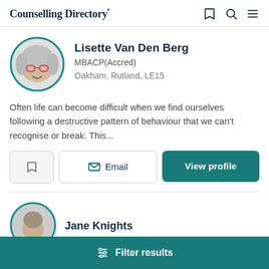Counselling Directory
Lisette Van Den Berg
MBACP(Accred)
Oakham, Rutland, LE15
Often life can become difficult when we find ourselves following a destructive pattern of behaviour that we can't recognise or break.  This...
Jane Knights